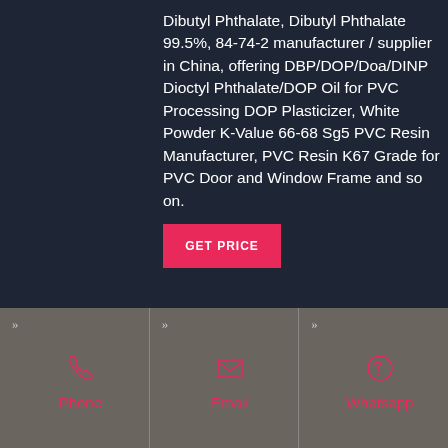Dibutyl Phthalate, Dibutyl Phthalate 99.5%, 84-74-2 manufacturer / supplier in China, offering DBP/DOP/Doa/DINP Dioctyl Phthalate/DOP Oil for PVC Processing DOP Plasticizer, White Powder K-Value 66-68 Sg5 PVC Resin Manufacturer, PVC Resin K67 Grade for PVC Door and Window Frame and so on.
GET PRICE
Phone
Email
Whatsapp